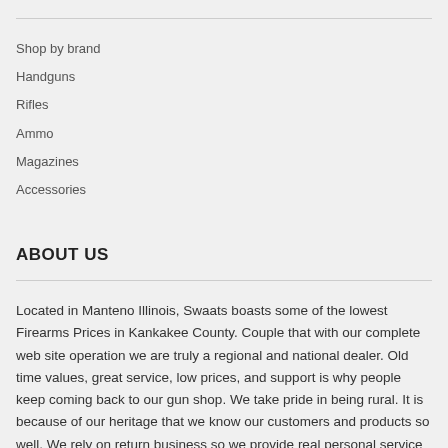Shop by brand
Handguns
Rifles
Ammo
Magazines
Accessories
ABOUT US
Located in Manteno Illinois, Swaats boasts some of the lowest Firearms Prices in Kankakee County. Couple that with our complete web site operation we are truly a regional and national dealer. Old time values, great service, low prices, and support is why people keep coming back to our gun shop. We take pride in being rural. It is because of our heritage that we know our customers and products so well. We rely on return business so we provide real personal service before and after every purchase. Continue Reading...